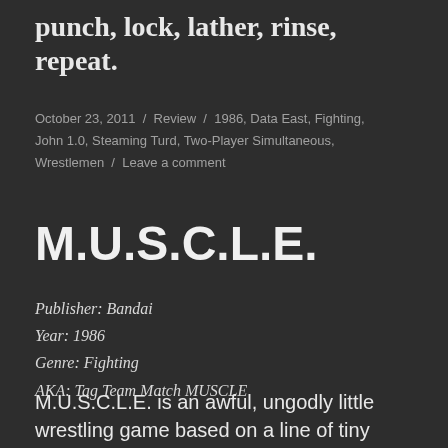punch, lock, lather, rinse, repeat.
October 23, 2011 / Review / 1986, Data East, Fighting, John 1.0, Steaming Turd, Two-Player Simultaneous, Wrestlemen / Leave a comment
M.U.S.C.L.E.
Publisher: Bandai
Year: 1986
Genre: Fighting
AKA: Tag Team Match MUSCLE
M.U.S.C.L.E. is an awful, ungodly little wrestling game based on a line of tiny vinyl inaction figures based on some Japanese series that, as